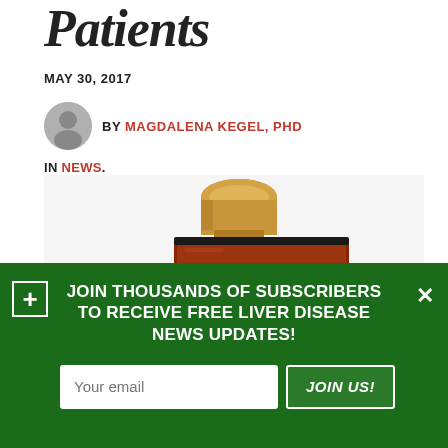Patients
MAY 30, 2017
BY MAGDALENA KEGEL, PHD
IN NEWS.
[Figure (photo): A rubber stamp with wooden handle and red ink pad face reading 'WILLBOARD', photographed on white background]
JOIN THOUSANDS OF SUBSCRIBERS TO RECEIVE FREE LIVER DISEASE NEWS UPDATES!
Your email
JOIN US!